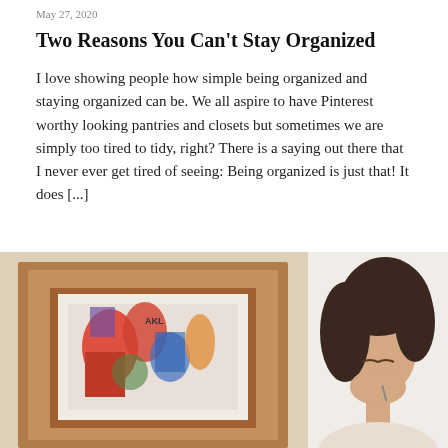May 27, 2020
Two Reasons You Can't Stay Organized
I love showing people how simple being organized and staying organized can be. We all aspire to have Pinterest worthy looking pantries and closets but sometimes we are simply too tired to tidy, right? There is a saying out there that I never ever get tired of seeing: Being organized is just that! It does [...]
[Figure (photo): A split photo showing on the left side a wooden-framed artwork with colorful imagery leaning against a wall, and on the right side a woman with dark hair looking downward, smiling slightly.]